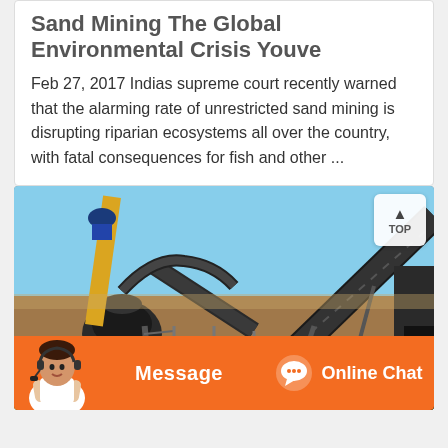Sand Mining The Global Environmental Crisis Youve
Feb 27, 2017 Indias supreme court recently warned that the alarming rate of unrestricted sand mining is disrupting riparian ecosystems all over the country, with fatal consequences for fish and other ...
[Figure (photo): Industrial sand mining equipment and machinery including conveyor belts, crushers, and a yellow crane against a blue sky and arid landscape.]
Message  Online Chat